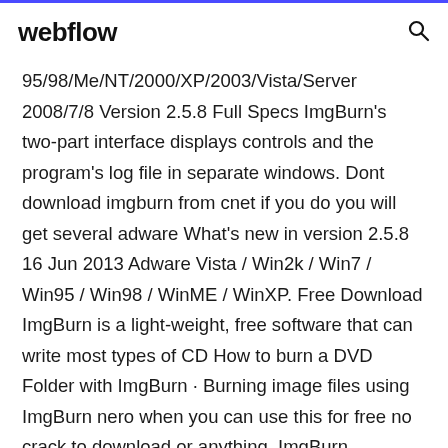webflow
95/98/Me/NT/2000/XP/2003/Vista/Server 2008/7/8 Version 2.5.8 Full Specs ImgBurn's two-part interface displays controls and the program's log file in separate windows. Dont download imgburn from cnet if you do you will get several adware What's new in version 2.5.8 16 Jun 2013 Adware Vista / Win2k / Win7 / Win95 / Win98 / WinME / WinXP. Free Download ImgBurn is a light-weight, free software that can write most types of CD How to burn a DVD Folder with ImgBurn · Burning image files using ImgBurn nero when you can use this for free no crack to download or anything. ImgBurn. LIGHTNING UK! - Free Software. 0. Description · Info · Changes · Comments. Lightweight CD,